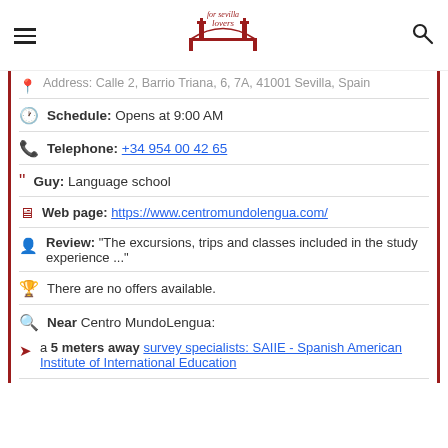for sevilla lovers [logo with hamburger menu and search icon]
Address: Calle 2, Barrio Triana, 6, 7A, 41001 Sevilla, Spain
Schedule: Opens at 9:00 AM
Telephone: +34 954 00 42 65
Guy: Language school
Web page: https://www.centromundolengua.com/
Review: "The excursions, trips and classes included in the study experience ..."
There are no offers available.
Near Centro MundoLengua:
a 5 meters away survey specialists: SAIIE - Spanish American Institute of International Education